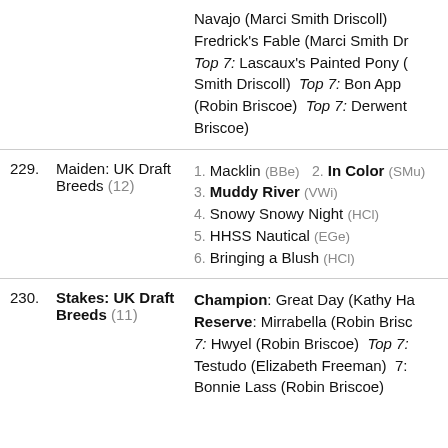| No. | Class | Results |
| --- | --- | --- |
|  |  | Navajo (Marci Smith Driscoll)  Fredrick's Fable (Marci Smith Dr…  Top 7: Lascaux's Painted Pony (…Smith Driscoll)  Top 7: Bon App… (Robin Briscoe)  Top 7: Derwent… Briscoe) |
| 229. | Maiden: UK Draft Breeds (12) | 1. Macklin (BBe)  2. In Color (SMu…  3. Muddy River (VWi)  4. Snowy Snowy Night (HCl)  5. HHSS Nautical (EGe)  6. Bringing a Blush (HCl) |
| 230. | Stakes: UK Draft Breeds (11) | Champion: Great Day (Kathy Ha…  Reserve: Mirrabella (Robin Brisc…  7: Hwyel (Robin Briscoe)  Top 7: Testudo (Elizabeth Freeman)  7… Bonnie Lass (Robin Briscoe) |